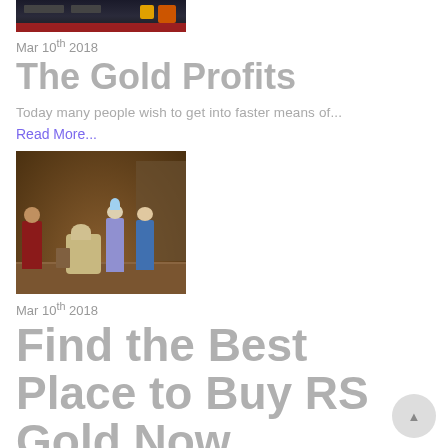[Figure (screenshot): Screenshot of a game interface with dark HUD elements and red bar at bottom]
Mar 10th 2018
The Gold Profits
Today many people wish to get into faster means of...
Read More...
[Figure (screenshot): Screenshot of a Runescape-like multiplayer game showing characters in a village setting]
Mar 10th 2018
Find the Best Place to Buy RS Gold Now
Runescape is a multi-player online game created about 10 years...